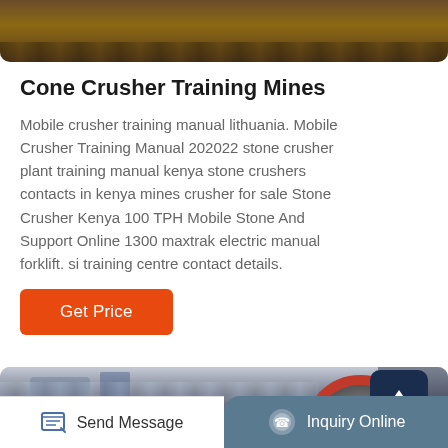[Figure (photo): Top portion of industrial mining/crushing machinery, brown metallic beams and structure]
Cone Crusher Training Mines
Mobile crusher training manual lithuania. Mobile Crusher Training Manual 202022 stone crusher plant training manual kenya stone crushers contacts in kenya mines crusher for sale Stone Crusher Kenya 100 TPH Mobile Stone And Support Online 1300 maxtrak electric manual forklift. si training centre contact details.
[Figure (photo): Industrial mining facility interior with large red flywheel/pulley machinery]
Send Message   Inquiry Online